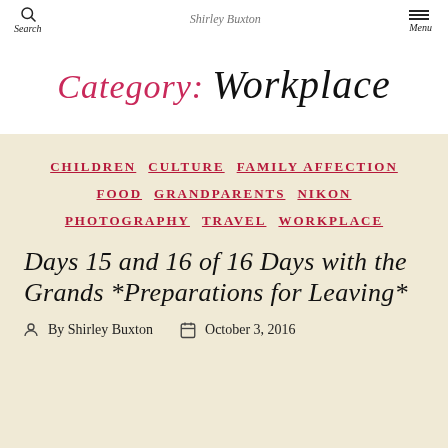Search   Shirley Buxton   Menu
Category: Workplace
CHILDREN  CULTURE  FAMILY AFFECTION  FOOD  GRANDPARENTS  NIKON  PHOTOGRAPHY  TRAVEL  WORKPLACE
Days 15 and 16 of 16 Days with the Grands *Preparations for Leaving*
By Shirley Buxton   October 3, 2016